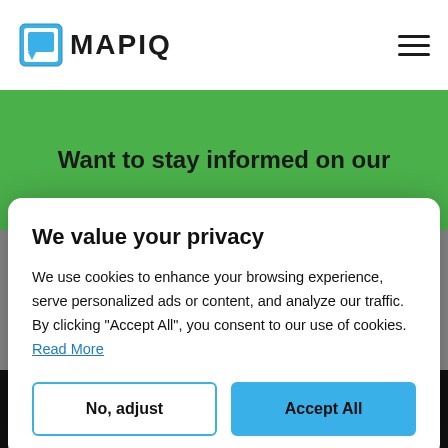[Figure (logo): Mapiq logo with blue speech-bubble icon and bold MAPIQ text]
Want to stay informed on our
We value your privacy
We use cookies to enhance your browsing experience, serve personalized ads or content, and analyze our traffic. By clicking "Accept All", you consent to our use of cookies. Read More
No, adjust
Accept All